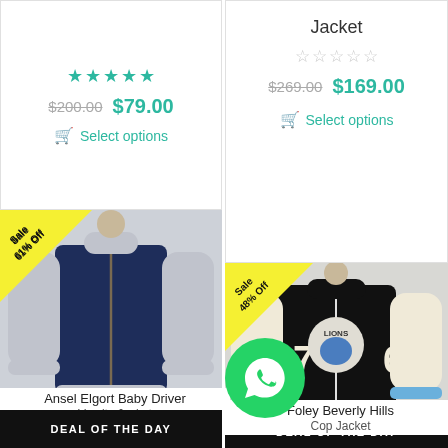[Figure (photo): Product card top-left: 5 star rating, price $200.00 crossed out, $79.00, Select options button]
[Figure (photo): Product card top-right: title 'Jacket', 0 star rating, price $269.00 crossed out, $169.00, Select options button]
[Figure (photo): Sale badge 61% Off - Navy/grey varsity jacket (Ansel Elgort Baby Driver) with DEAL OF THE DAY banner]
Ansel Elgort Baby Driver
Varsity Jacket
[Figure (photo): Sale badge 48% Off - Black/cream letterman jacket (Beverly Hills Cop) with DEAL OF THE DAY banner, WhatsApp overlay]
Foley Beverly Hills Cop Jacket